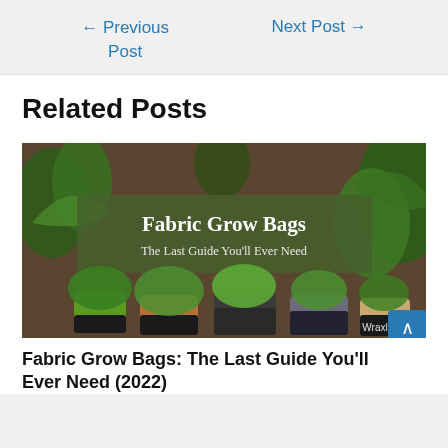← Previous Post   Next Post →
Related Posts
[Figure (photo): Photo of fabric grow bags/pots with plants, with green overlay text reading 'Fabric Grow Bags — The Last Guide You'll Ever Need' and watermark 'Wraxly.com']
Fabric Grow Bags: The Last Guide You'll Ever Need (2022)